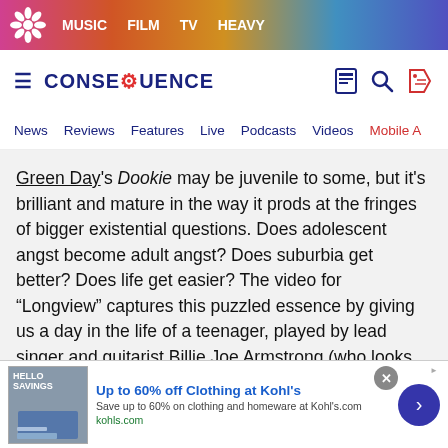MUSIC   FILM   TV   HEAVY
CONSEQUENCE
News   Reviews   Features   Live   Podcasts   Videos   Mobile A
Green Day's Dookie may be juvenile to some, but it's brilliant and mature in the way it prods at the fringes of bigger existential questions. Does adolescent angst become adult angst? Does suburbia get better? Does life get easier? The video for “Longview” captures this puzzled essence by giving us a day in the life of a teenager, played by lead singer and guitarist Billie Joe Armstrong (who looks the part). As expected, things aren't too exciting…
[Figure (screenshot): Advertisement banner: Up to 60% off Clothing at Kohl's. Save up to 60% on clothing and homeware at Kohl's.com. kohls.com]